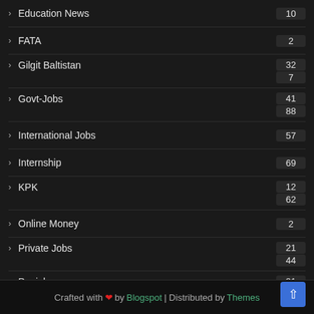Education News 10
FATA 2
Gilgit Baltistan 32 7
Govt-Jobs 41 88
International Jobs 57
Internship 69
KPK 12 62
Online Money 2
Private Jobs 21 44
Punjab 31 89
Scholarship 47
Sindh 18 05
Crafted with ❤ by Blogspot | Distributed by Themes